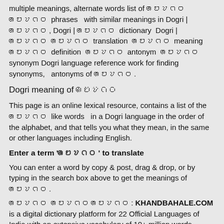multiple meanings, alternate words list of ꢠꢤꢦꢡꢝ   ꢠꢤꢦꢡꢝ phrases   with similar meanings in Dogri | ꢠꢤꢦꢡꢝ, Dogri | ꢠꢤꢦꢡꢝ dictionary  Dogri | ꢠꢤꢦꢡꢝ ꢠꢤꢦꢡꢝ translation  ꢠꢤꢦꢡꢝ meaning  ꢠꢤꢦꢡꢝ definition  ꢠꢤꢦꢡꢝ antonym  ꢠꢤꢦꢡꢝ synonym Dogri language reference work for finding synonyms,  antonyms of ꢠꢤꢦꢡꢝ.
Dogri meaning of ꢠꢤꢦꢡꢝ
This page is an online lexical resource, contains a list of the ꢠꢤꢦꢡꢝ like words   in a Dogri language in the order of the alphabet, and that tells you what they mean, in the same or other languages including English.
Enter a term 'ꢠꢤꢦꢡꢝ' to translate
You can enter a word by copy & post, drag & drop, or by typing in the search box above to get the meanings of ꢠꢤꢦꢡꢝ.
ꢠꢤꢦꢡꢝ ꢠꢤꢦꢡꢝꢠꢤꢦꢡꢝ: KHANDBAHALE.COM is a digital dictionary platform for 22 Official Languages of India with an extensive vocabulary of 10+ million words.